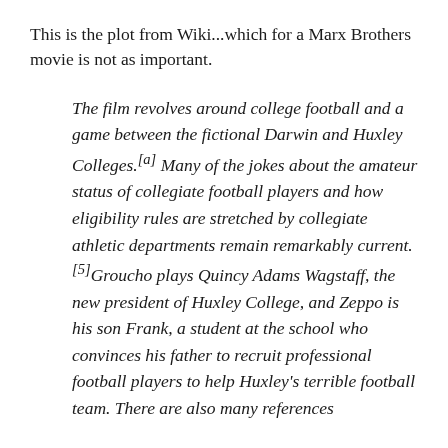This is the plot from Wiki...which for a Marx Brothers movie is not as important.
The film revolves around college football and a game between the fictional Darwin and Huxley Colleges.[a] Many of the jokes about the amateur status of collegiate football players and how eligibility rules are stretched by collegiate athletic departments remain remarkably current. [5]Groucho plays Quincy Adams Wagstaff, the new president of Huxley College, and Zeppo is his son Frank, a student at the school who convinces his father to recruit professional football players to help Huxley's terrible football team. There are also many references